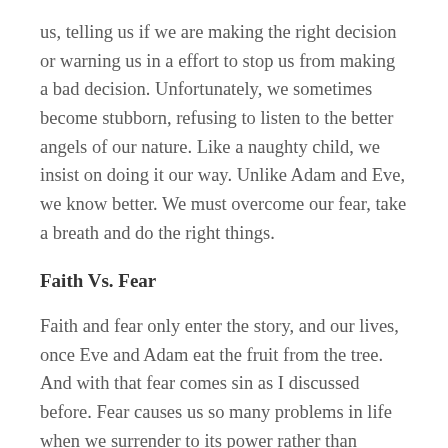us, telling us if we are making the right decision or warning us in a effort to stop us from making a bad decision. Unfortunately, we sometimes become stubborn, refusing to listen to the better angels of our nature. Like a naughty child, we insist on doing it our way. Unlike Adam and Eve, we know better. We must overcome our fear, take a breath and do the right things.
Faith Vs. Fear
Faith and fear only enter the story, and our lives, once Eve and Adam eat the fruit from the tree. And with that fear comes sin as I discussed before. Fear causes us so many problems in life when we surrender to its power rather than standing firm and strong in faith. Following the